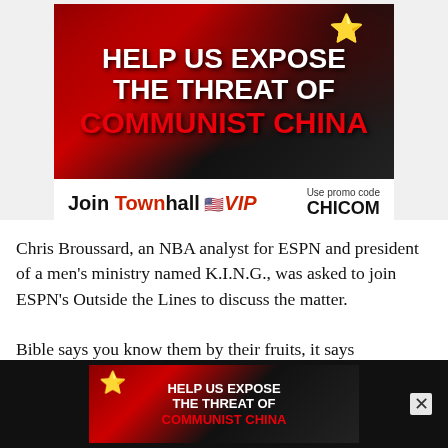[Figure (illustration): Advertisement banner: 'HELP US EXPOSE THE THREAT OF COMMUNIST CHINA' with red/black background, yellow star, silhouette figure. Below: 'Join Townhall VIP  Use promo code CHICOM']
Chris Broussard, an NBA analyst for ESPN and president of a men's ministry named K.I.N.G., was asked to join ESPN's Outside the Lines to discuss the matter.
When asked if he believes that Jason Collins is a Christian, he said this: "Personally, I don't believe that you can live an openly homosexual lifestyle or
[Figure (illustration): Bottom sticky advertisement banner: 'HELP US EXPOSE THE THREAT OF COMMUNIST CHINA' with red/black background, yellow star, and face silhouette on right. Close X button on right side.]
Bible says you know them by their fruits, it says